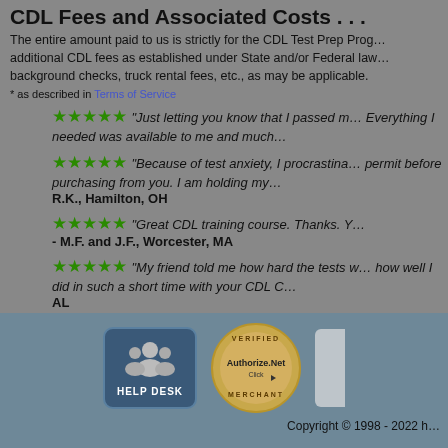CDL Fees and Associated Costs . . .
The entire amount paid to us is strictly for the CDL Test Prep Program. There may be additional CDL fees as established under State and/or Federal law, such as license fees, background checks, truck rental fees, etc., as may be applicable.
* as described in Terms of Service
★★★★★ "Just letting you know that I passed my... Everything I needed was available to me and much..."
★★★★★ "Because of test anxiety, I procrastina... permit before purchasing from you. I am holding my... R.K., Hamilton, OH
★★★★★ "Great CDL training course. Thanks. Y... - M.F. and J.F., Worcester, MA
★★★★★ "My friend told me how hard the tests w... how well I did in such a short time with your CDL C... AL
View M...
[Figure (infographic): Help Desk icon button and Authorize.Net Verified Merchant badge in footer]
Copyright © 1998 - 2022 h...